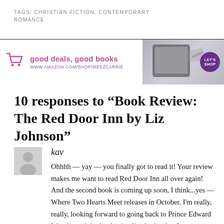TAGS: CHRISTIAN FICTION, CONTEMPORARY ROMANCE
[Figure (infographic): Advertisement banner: shopping cart icon, 'good deals, good books' in pink text, 'WWW.AMAZON.COM/SHOP/MEEZCARRIE' in purple, photo of tablet/e-reader, purple 'LET'S SHOP' circular badge]
10 responses to “Book Review: The Red Door Inn by Liz Johnson”
kav
Ohhhh — yay — you finally got to read it! Your review makes me want to read Red Door Inn all over again! And the second book is coming up soon, I think...yes — Where Two Hearts Meet releases in October. I'm really, really, looking forward to going back to Prince Edward Island....and that’s a bucket list destination for me as